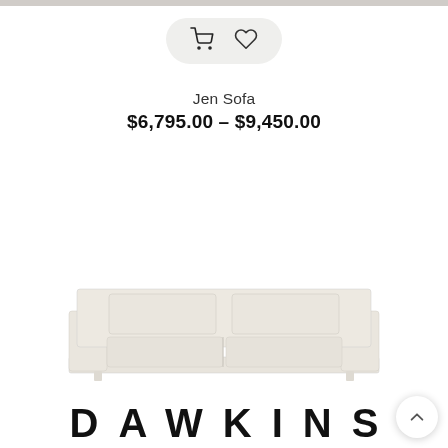[Figure (screenshot): UI action buttons: shopping cart icon and heart/wishlist icon inside a rounded pill-shaped grey background]
Jen Sofa
$6,795.00 – $9,450.00
[Figure (illustration): White/cream modern three-seater sofa (Jen Sofa) shown as product image with clean lines and two back cushions]
DAWKINS